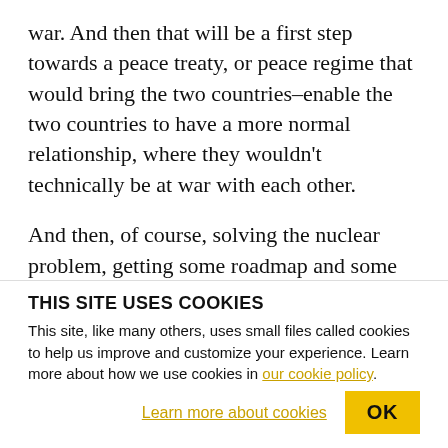war. And then that will be a first step towards a peace treaty, or peace regime that would bring the two countries–enable the two countries to have a more normal relationship, where they wouldn't technically be at war with each other.
And then, of course, solving the nuclear problem, getting some roadmap and some shared approach to how the North will reduce its nuclear weapons arsenal, would be very helpful. And in exchange for that, the West and the United States need to provide
THIS SITE USES COOKIES
This site, like many others, uses small files called cookies to help us improve and customize your experience. Learn more about how we use cookies in our cookie policy.
Learn more about cookies   OK